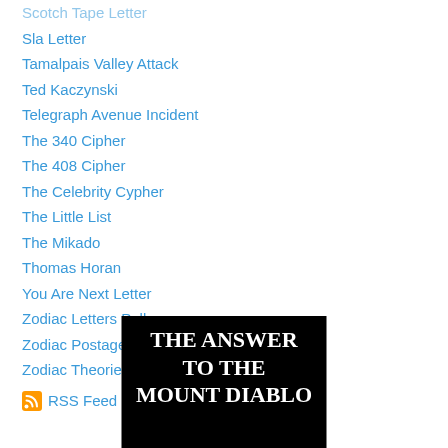Scotch Tape Letter
Sla Letter
Tamalpais Valley Attack
Ted Kaczynski
Telegraph Avenue Incident
The 340 Cipher
The 408 Cipher
The Celebrity Cypher
The Little List
The Mikado
Thomas Horan
You Are Next Letter
Zodiac Letters Poll
Zodiac Postage
Zodiac Theories
RSS Feed
[Figure (other): Book cover image with black background and white text reading 'THE ANSWER TO THE MOUNT DIABLO']